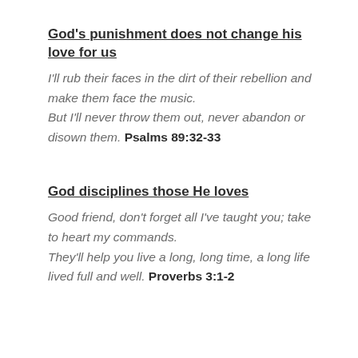God's punishment does not change his love for us
I'll rub their faces in the dirt of their rebellion and make them face the music. But I'll never throw them out, never abandon or disown them. Psalms 89:32-33
God disciplines those He loves
Good friend, don't forget all I've taught you; take to heart my commands. They'll help you live a long, long time, a long life lived full and well. Proverbs 3:1-2